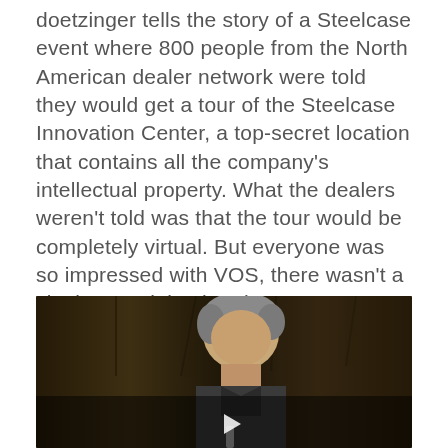Doetzinger tells the story of a Steelcase event where 800 people from the North American dealer network were told they would get a tour of the Steelcase Innovation Center, a top-secret location that contains all the company's intellectual property. What the dealers weren't told was that the tour would be completely virtual. But everyone was so impressed with VOS, there wasn't a single complaint that they weren't looking at the real Innovation Center. Instead, the conversation was about how they could access the technology for their own clients.
[Figure (photo): Video thumbnail showing a man with grey hair being interviewed, dark wooden background, with a play button indicator at the bottom center]